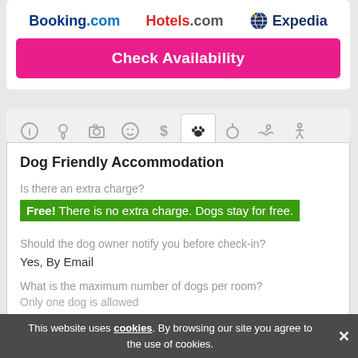[Figure (logo): Booking.com, Hotels.com, and Expedia logos in a row]
Check Availability
[Figure (infographic): Tab navigation icons: info, location, camera, emoji, dollar, paw print (active), food, swimming, accessibility]
Dog Friendly Accommodation
Is there an extra charge?
Free! There is no extra charge. Dogs stay for free.
Should the dog owner notify you before check-in?
Yes, By Email
What is the maximum number of dogs per room?
Only one dog is allowed
Show more ▾
Categories 1
This website uses cookies. By browsing our site you agree to the use of cookies.